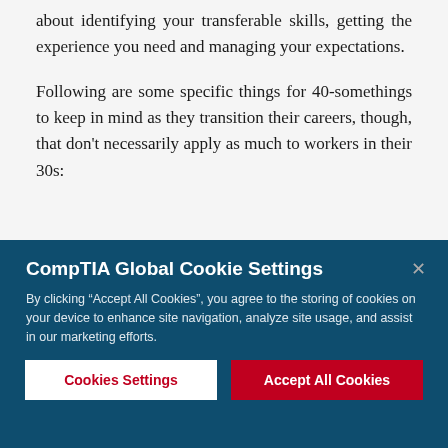about identifying your transferable skills, getting the experience you need and managing your expectations.
Following are some specific things for 40-somethings to keep in mind as they transition their careers, though, that don't necessarily apply as much to workers in their 30s:
[Figure (screenshot): CompTIA Global Cookie Settings modal overlay with dark teal background. Title: 'CompTIA Global Cookie Settings'. Body text: 'By clicking "Accept All Cookies", you agree to the storing of cookies on your device to enhance site navigation, analyze site usage, and assist in our marketing efforts.' Two buttons: 'Cookies Settings' (white background, red text) and 'Accept All Cookies' (red background, white text). X close button at top right.]